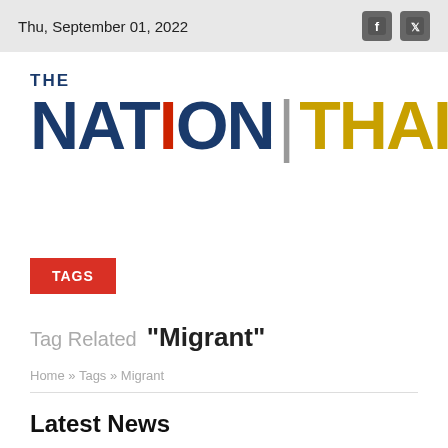Thu, September 01, 2022
[Figure (logo): The Nation Thailand logo — 'THE' in small navy text above 'NATION' in large navy bold letters with a red 'I', a vertical divider bar, and 'THAILAND' in large gold bold letters]
TAGS
Tag Related "Migrant"
Home » Tags » Migrant
Latest News